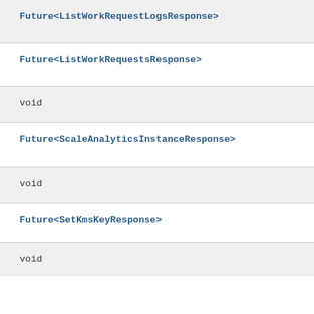Future<ListWorkRequestLogsResponse>
Future<ListWorkRequestsResponse>
void
Future<ScaleAnalyticsInstanceResponse>
void
Future<SetKmsKeyResponse>
void